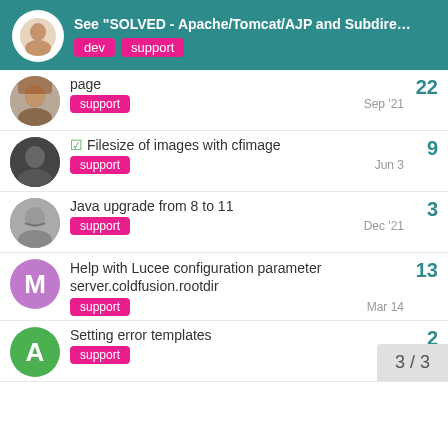See "SOLVED - Apache/Tomcat/AJP and Subdire..." | Tags: dev, support
page | support | Sep '21 | 22 replies
[SOLVED] Filesize of images with cfimage | support | Jun 3 | 9 replies
Java upgrade from 8 to 11 | support | Dec '21 | 3 replies
Help with Lucee configuration parameter server.coldfusion.rootdir | support | Mar 14 | 13 replies
Setting error templates | support | 2 replies
3 / 3